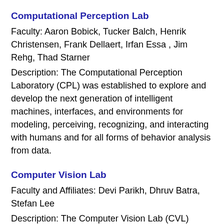Computational Perception Lab
Faculty: Aaron Bobick, Tucker Balch, Henrik Christensen, Frank Dellaert, Irfan Essa , Jim Rehg, Thad Starner
Description: The Computational Perception Laboratory (CPL) was established to explore and develop the next generation of intelligent machines, interfaces, and environments for modeling, perceiving, recognizing, and interacting with humans and for all forms of behavior analysis from data.
Computer Vision Lab
Faculty and Affiliates: Devi Parikh, Dhruv Batra, Stefan Lee
Description: The Computer Vision Lab (CVL) works on various problems in the visual intelligence space. These include, but are not limited to, building agents that can understand images, learn to ask and answer questions,